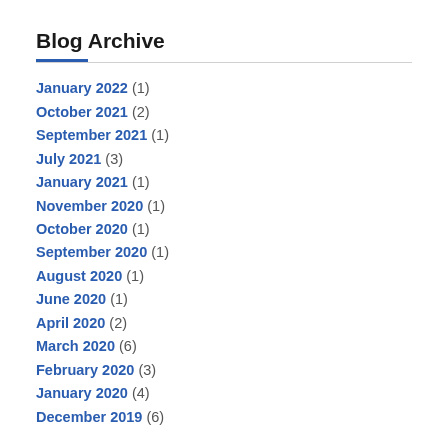Blog Archive
January 2022 (1)
October 2021 (2)
September 2021 (1)
July 2021 (3)
January 2021 (1)
November 2020 (1)
October 2020 (1)
September 2020 (1)
August 2020 (1)
June 2020 (1)
April 2020 (2)
March 2020 (6)
February 2020 (3)
January 2020 (4)
December 2019 (6)